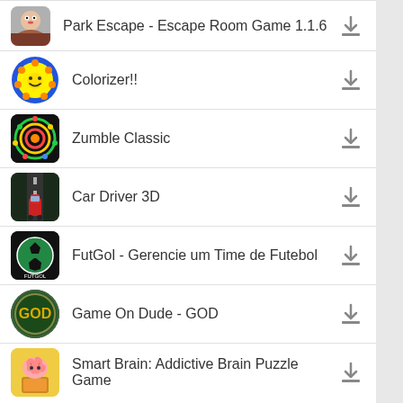Park Escape - Escape Room Game 1.1.6
Colorizer!!
Zumble Classic
Car Driver 3D
FutGol - Gerencie um Time de Futebol
Game On Dude - GOD
Smart Brain: Addictive Brain Puzzle Game